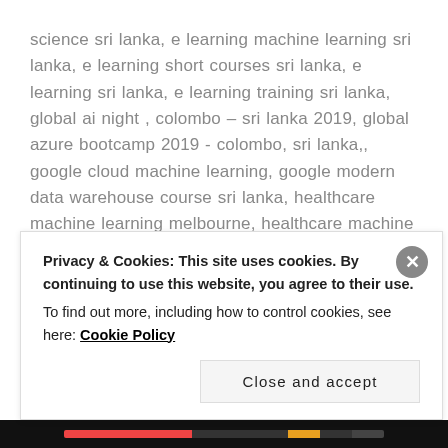science sri lanka, e learning machine learning sri lanka, e learning short courses sri lanka, e learning sri lanka, e learning training sri lanka, global ai night , colombo – sri lanka 2019, global azure bootcamp 2019 - colombo, sri lanka,, google cloud machine learning, google modern data warehouse course sri lanka, healthcare machine learning melbourne, healthcare machine learning projejcts sri lanka, healthcare machine learning singapore, healthcare machine learning sri lanka, healthcare machine learning workshop at melbourne, ibm ai enterprise workflow data science specialist, ibm modern data warehouse course sri lanka, introduction to deep learning with tenser flow course s, introduction to hadoop course sri lanka, introduction to
Privacy & Cookies: This site uses cookies. By continuing to use this website, you agree to their use.
To find out more, including how to control cookies, see here: Cookie Policy
Close and accept